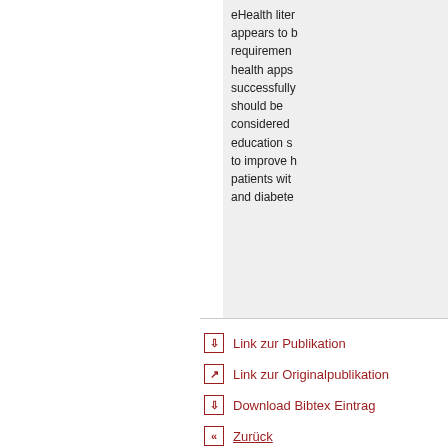eHealth literacy appears to be a requirement for health apps to be successfully used, should be considered in education strategies to improve health in patients with obesity and diabetes.
Link zur Publikation
Link zur Originalpublikation
Download Bibtex Eintrag
Zurück
Zuletzt aktualisiert: 26.11.
Seite drucken  Jan-Nil... Ant...
Kontakt  Impressum  Siter... English  Inde... Z  Mobil  Datenschl...